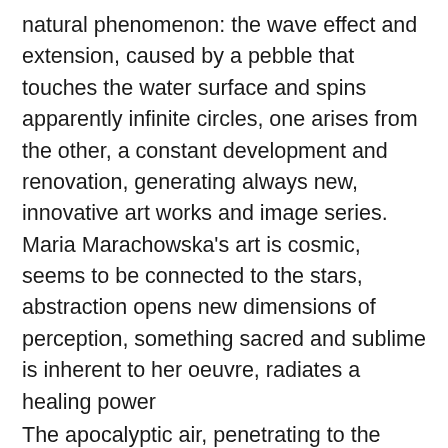natural phenomenon: the wave effect and extension, caused by a pebble that touches the water surface and spins apparently infinite circles, one arises from the other, a constant development and renovation, generating always new, innovative art works and image series. Maria Marachowska's art is cosmic, seems to be connected to the stars, abstraction opens new dimensions of perception, something sacred and sublime is inherent to her oeuvre, radiates a healing power
The apocalyptic air, penetrating to the surface in many of her paintings, gives no reason to anguish or grief, but announces a new world in which the Fantastic has defeated cold rationality, through the awakening of an all-embracing cosmos, she gives reason to hope, her images give us a hint of a lost world before the beginning of time, to which there is no more access in normal life.